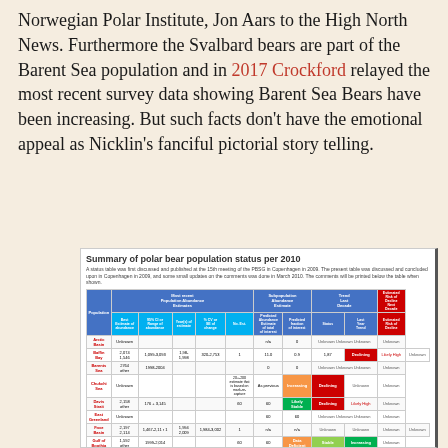Norwegian Polar Institute, Jon Aars to the High North News. Furthermore the Svalbard bears are part of the Barent Sea population and in 2017 Crockford relayed the most recent survey data showing Barent Sea Bears have been increasing. But such facts don't have the emotional appeal as Nicklin's fanciful pictorial story telling.
[Figure (table-as-image): Summary of polar bear population status per 2010 table showing population, population size, trend, status and data quality with color-coded cells (red, green, orange, yellow) for various polar bear subpopulations.]